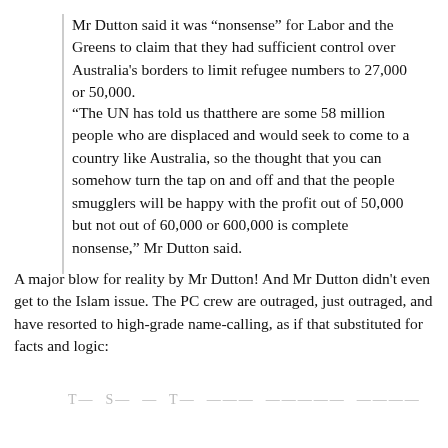Mr Dutton said it was “nonsense” for Labor and the Greens to claim that they had sufficient control over Australia's borders to limit refugee numbers to 27,000 or 50,000.
“The UN has told us thatthere are some 58 million people who are displaced and would seek to come to a country like Australia, so the thought that you can somehow turn the tap on and off and that the people smugglers will be happy with the profit out of 50,000 but not out of 60,000 or 600,000 is complete nonsense,” Mr Dutton said.
A major blow for reality by Mr Dutton! And Mr Dutton didn't even get to the Islam issue. The PC crew are outraged, just outraged, and have resorted to high-grade name-calling, as if that substituted for facts and logic:
T— S— — T— ——— ————— ————